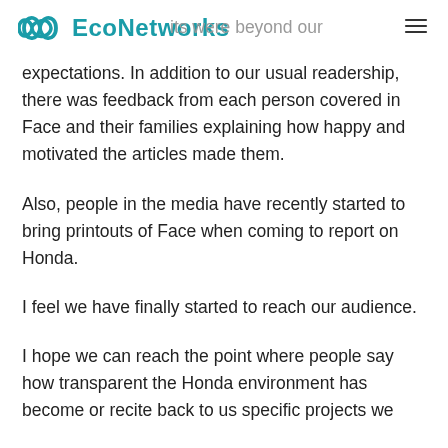EcoNetworks
its were beyond our expectations. In addition to our usual readership, there was feedback from each person covered in Face and their families explaining how happy and motivated the articles made them.
Also, people in the media have recently started to bring printouts of Face when coming to report on Honda.
I feel we have finally started to reach our audience.
I hope we can reach the point where people say how transparent the Honda environment has become or recite back to us specific projects we